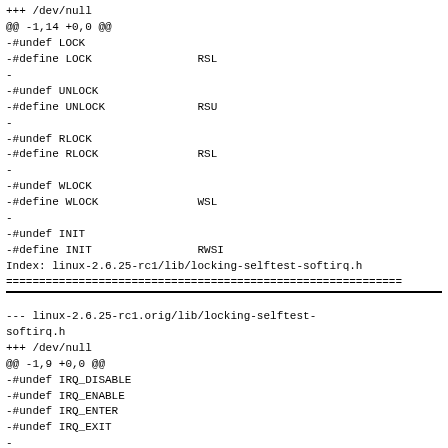+++ /dev/null
@@ -1,14 +0,0 @@
-#undef LOCK
-#define LOCK                RSL
-
-#undef UNLOCK
-#define UNLOCK              RSU
-
-#undef RLOCK
-#define RLOCK               RSL
-
-#undef WLOCK
-#define WLOCK               WSL
-
-#undef INIT
-#define INIT                RWSI
Index: linux-2.6.25-rc1/lib/locking-selftest-softirq.h
============================================================
--- linux-2.6.25-rc1.orig/lib/locking-selftest-softirq.h
+++ /dev/null
@@ -1,9 +0,0 @@
-#undef IRQ_DISABLE
-#undef IRQ_ENABLE
-#undef IRQ_ENTER
-#undef IRQ_EXIT
-
-#define IRQ_DISABLE         SOFTIRQ_DISABLE
-#define IRQ_ENABLE          SOFTIRQ_ENABLE
-#define IRQ_ENTER           SOFTIRQ_ENTER